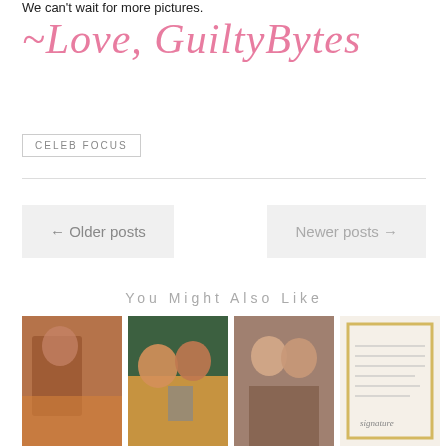We can't wait for more pictures.
~Love, GuiltyBytes
CELEB FOCUS
← Older posts
Newer posts →
You Might Also Like
[Figure (photo): Four thumbnail photos showing celebrities]
[Figure (photo): Group of people posing]
[Figure (photo): Two men hugging]
[Figure (photo): Letter or document with signature]